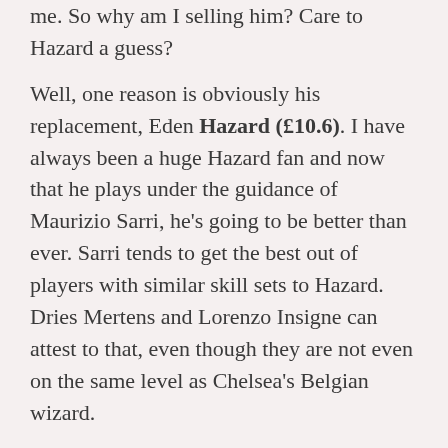me. So why am I selling him? Care to Hazard a guess?
Well, one reason is obviously his replacement, Eden Hazard (£10.6). I have always been a huge Hazard fan and now that he plays under the guidance of Maurizio Sarri, he's going to be better than ever. Sarri tends to get the best out of players with similar skill sets to Hazard. Dries Mertens and Lorenzo Insigne can attest to that, even though they are not even on the same level as Chelsea's Belgian wizard.
Still, Hazard won't outscore Salah for the rest of the season, but he very well might do so in the next couple of gameweeks. Bournemouth (H), Cardiff (H), West Ham (A) and Southampton (A) as 4 of the 5 matches going forward looks too good to miss. The 5th match is at home against Salah's Liverpool in GW7, in the midst of a grueling schedule for Liverpool in September and October.